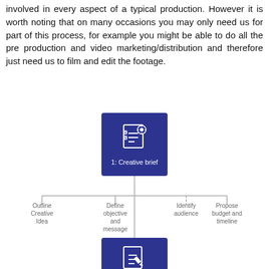involved in every aspect of a typical production. However it is worth noting that on many occasions you may only need us for part of this process, for example you might be able to do all the pre production and video marketing/distribution and therefore just need us to film and edit the footage.
[Figure (flowchart): Flowchart showing step 1: Creative brief (dark blue box with icon) branching into four sub-items: Outline Creative Idea, Define objective and message, Identify audience, Propose budget and timeline. Then an arrow leads down to step 2: Write script and storyboard (dark blue box with icon), with a continuation arrow pointing further down.]